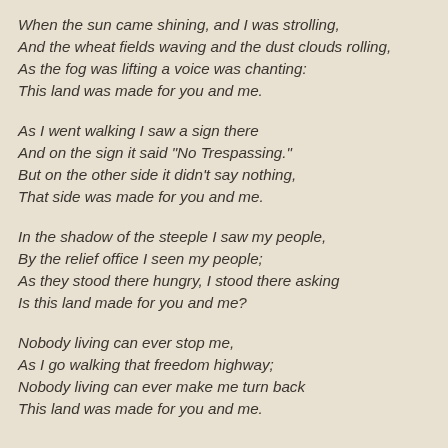When the sun came shining, and I was strolling,
And the wheat fields waving and the dust clouds rolling,
As the fog was lifting a voice was chanting:
This land was made for you and me.
As I went walking I saw a sign there
And on the sign it said "No Trespassing."
But on the other side it didn't say nothing,
That side was made for you and me.
In the shadow of the steeple I saw my people,
By the relief office I seen my people;
As they stood there hungry, I stood there asking
Is this land made for you and me?
Nobody living can ever stop me,
As I go walking that freedom highway;
Nobody living can ever make me turn back
This land was made for you and me.